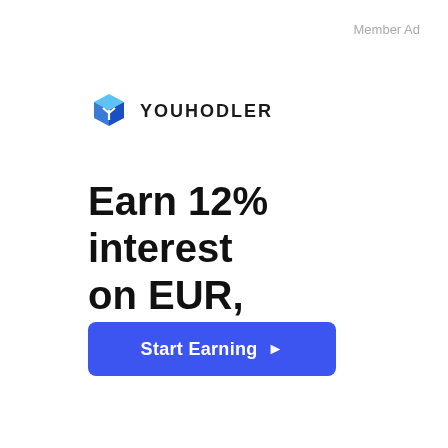Member Ad
[Figure (logo): YouHodler logo: blue 3D cube icon with Y shape, followed by YOUHODLER text in bold dark letters]
Earn 12% interest on EUR, USD, GBP.
Start Earning ▶